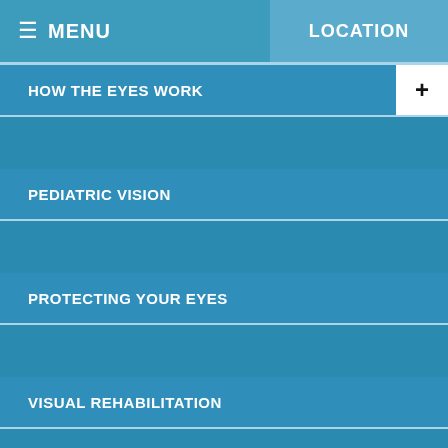MENU  LOCATION
HOW THE EYES WORK
PEDIATRIC VISION
PROTECTING YOUR EYES
VISUAL REHABILITATION
VISION PROBLEMS
WHAT IS VISION THERAPY
VISION THERAPY PROGRAMS
WE CAN HELP WITH
NEWSLETTERS